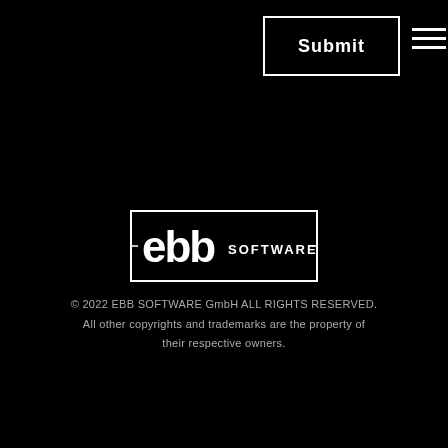[Figure (logo): Submit button with white border on black background]
[Figure (logo): Hamburger menu icon — three white horizontal lines]
[Figure (logo): EBB SOFTWARE logo — white text and icon in rectangular border on black background]
© 2022 EBB SOFTWARE GmbH ALL RIGHTS RESERVED. All other copyrights and trademarks are the property of their respective owners.